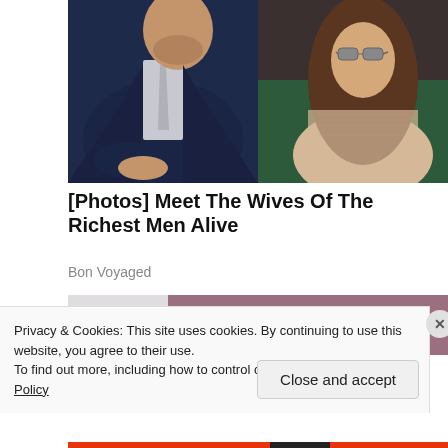[Figure (photo): A man in a navy suit with a light tie and a woman with long brown hair wearing sunglasses and a beige lace top with a pink flower, seated in green chairs, likely at a sporting event.]
[Photos] Meet The Wives Of The Richest Men Alive
Bon Voyaged
[Figure (photo): Partially visible second photo with purple/mauve tones, mostly covered by cookie banner.]
Privacy & Cookies: This site uses cookies. By continuing to use this website, you agree to their use.
To find out more, including how to control cookies, see here: Cookie Policy
Close and accept